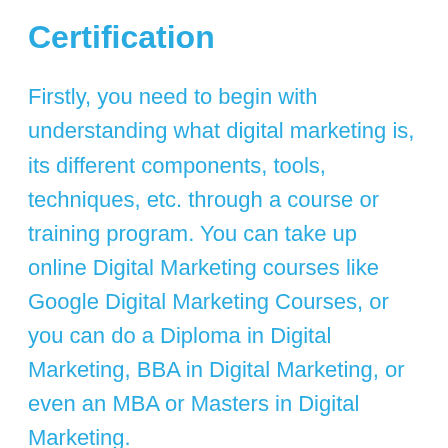Certification
Firstly, you need to begin with understanding what digital marketing is, its different components, tools, techniques, etc. through a course or training program. You can take up online Digital Marketing courses like Google Digital Marketing Courses, or you can do a Diploma in Digital Marketing, BBA in Digital Marketing, or even an MBA or Masters in Digital Marketing.
Create a Strong Online Presence